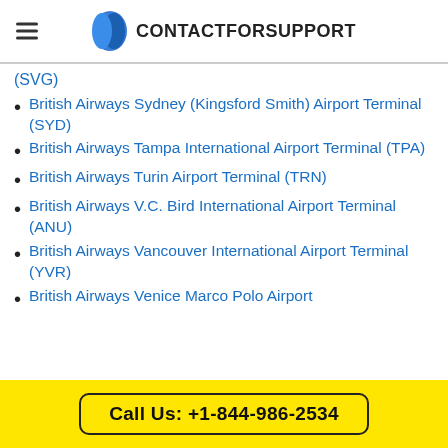CONTACTFORSUPPORT
(SVG)
British Airways Sydney (Kingsford Smith) Airport Terminal (SYD)
British Airways Tampa International Airport Terminal (TPA)
British Airways Turin Airport Terminal (TRN)
British Airways V.C. Bird International Airport Terminal (ANU)
British Airways Vancouver International Airport Terminal (YVR)
British Airways Venice Marco Polo Airport
Call Us: +1-844-986-2534